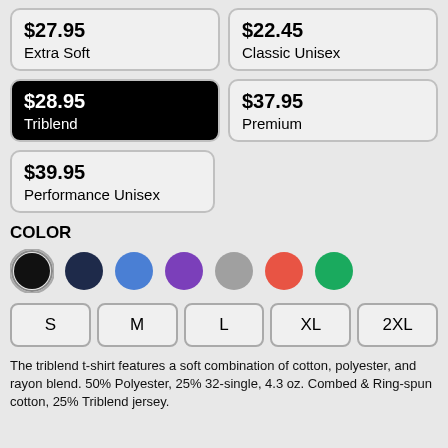| $27.95 | Extra Soft | $22.45 | Classic Unisex |
| $28.95 | Triblend | $37.95 | Premium |
| $39.95 | Performance Unisex |  |  |
COLOR
[Figure (infographic): Color swatches: black (selected with ring), dark navy, blue, purple, gray, red/coral, green]
[Figure (infographic): Size buttons: S, M, L, XL, 2XL]
The triblend t-shirt features a soft combination of cotton, polyester, and rayon blend. 50% Polyester, 25% 32-single, 4.3 oz. Combed & Ring-spun cotton, 25% Triblend jersey.